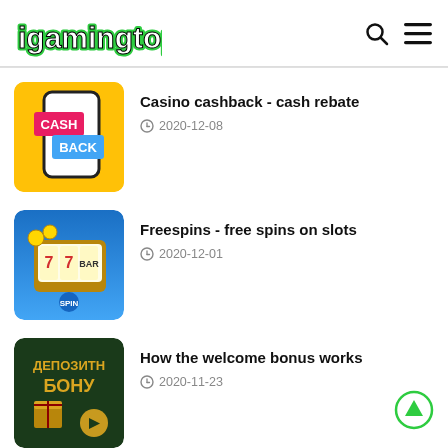igamingtop
[Figure (screenshot): Casino cashback app icon with yellow background, phone graphic, CASH and BACK labels]
Casino cashback - cash rebate
2020-12-08
[Figure (screenshot): Freespins slot machine app icon with blue background, slot reels showing 7 and BAR]
Freespins - free spins on slots
2020-12-01
[Figure (screenshot): Welcome bonus thumbnail with dark green background, Cyrillic text ДЕПОЗИТН БОНУ, gift box and play button]
How the welcome bonus works
2020-11-23